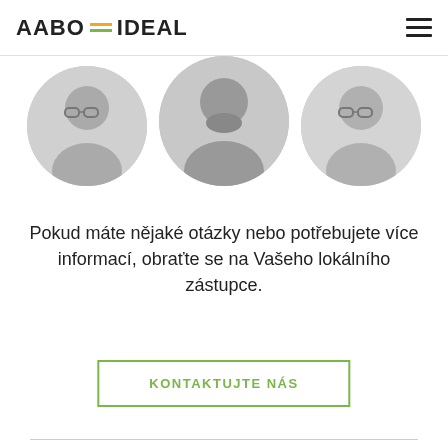AABO IDEAL
[Figure (photo): Three circular black-and-white portrait photos of people (two men and one woman)]
Pokud máte nějaké otázky nebo potřebujete více informací, obraťte se na Vašeho lokálního zástupce.
KONTAKTUJTE NÁS